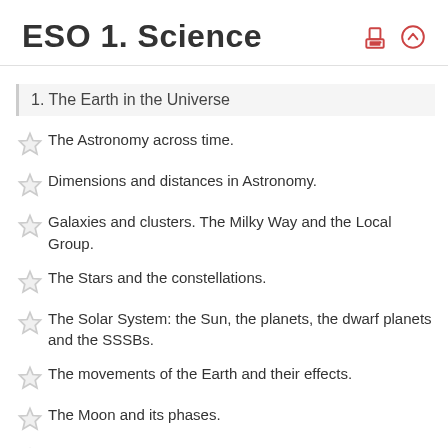ESO 1. Science
1. The Earth in the Universe
The Astronomy across time.
Dimensions and distances in Astronomy.
Galaxies and clusters. The Milky Way and the Local Group.
The Stars and the constellations.
The Solar System: the Sun, the planets, the dwarf planets and the SSSBs.
The movements of the Earth and their effects.
The Moon and its phases.
The eclipses.